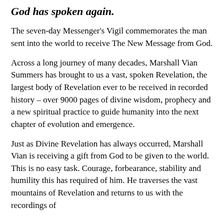God has spoken again.
The seven-day Messenger's Vigil commemorates the man sent into the world to receive The New Message from God.
Across a long journey of many decades, Marshall Vian Summers has brought to us a vast, spoken Revelation, the largest body of Revelation ever to be received in recorded history – over 9000 pages of divine wisdom, prophecy and a new spiritual practice to guide humanity into the next chapter of evolution and emergence.
Just as Divine Revelation has always occurred, Marshall Vian is receiving a gift from God to be given to the world. This is no easy task. Courage, forbearance, stability and humility this has required of him. He traverses the vast mountains of Revelation and returns to us with the recordings of